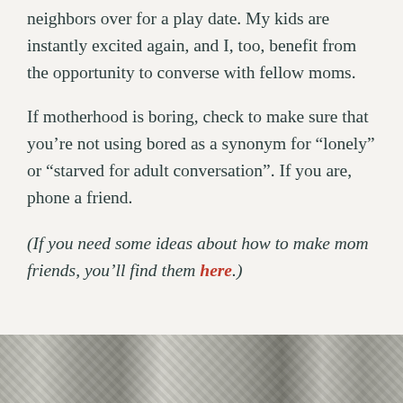neighbors over for a play date. My kids are instantly excited again, and I, too, benefit from the opportunity to converse with fellow moms.
If motherhood is boring, check to make sure that you’re not using bored as a synonym for “lonely” or “starved for adult conversation”. If you are, phone a friend.
(If you need some ideas about how to make mom friends, you’ll find them here.)
[Figure (photo): A partially visible photo strip at the bottom of the page showing diagonal striped patterns, appears to be a collage or overlapping images in grayscale/muted tones.]